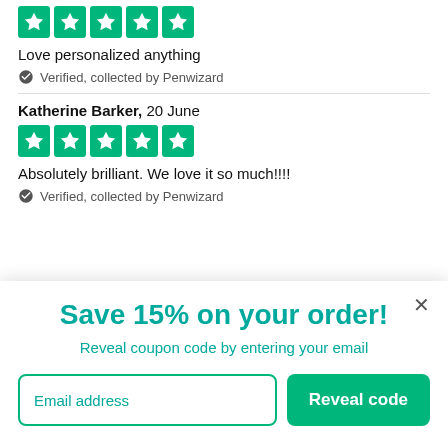[Figure (other): Five green Trustpilot star rating boxes]
Love personalized anything
Verified, collected by Penwizard
Katherine Barker, 20 June
[Figure (other): Five green Trustpilot star rating boxes]
Absolutely brilliant. We love it so much!!!!
Verified, collected by Penwizard
Save 15% on your order!
Reveal coupon code by entering your email
Email address
Reveal code